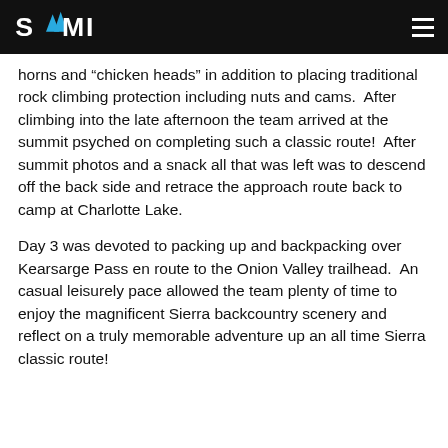SMI [logo with mountain icon]
horns and “chicken heads” in addition to placing traditional rock climbing protection including nuts and cams.  After climbing into the late afternoon the team arrived at the summit psyched on completing such a classic route!  After summit photos and a snack all that was left was to descend off the back side and retrace the approach route back to camp at Charlotte Lake.
Day 3 was devoted to packing up and backpacking over Kearsarge Pass en route to the Onion Valley trailhead.  An casual leisurely pace allowed the team plenty of time to enjoy the magnificent Sierra backcountry scenery and reflect on a truly memorable adventure up an all time Sierra classic route!